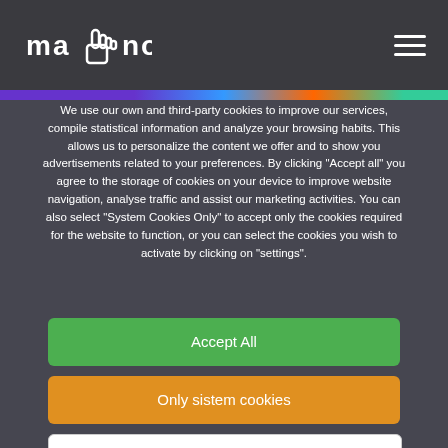ma(hand)no — navigation header
We use our own and third-party cookies to improve our services, compile statistical information and analyze your browsing habits. This allows us to personalize the content we offer and to show you advertisements related to your preferences. By clicking "Accept all" you agree to the storage of cookies on your device to improve website navigation, analyse traffic and assist our marketing activities. You can also select "System Cookies Only" to accept only the cookies required for the website to function, or you can select the cookies you wish to activate by clicking on "settings".
Accept All
Only sistem cookies
Configuration